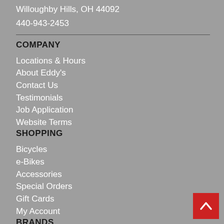Willoughby Hills, OH 44092
440-943-2453
COMPANY
Locations & Hours
About Eddy's
Contact Us
Testimonials
Job Application
Website Terms
SHOPPING
Bicycles
e-Bikes
Accessories
Special Orders
Gift Cards
My Account
BRANDS